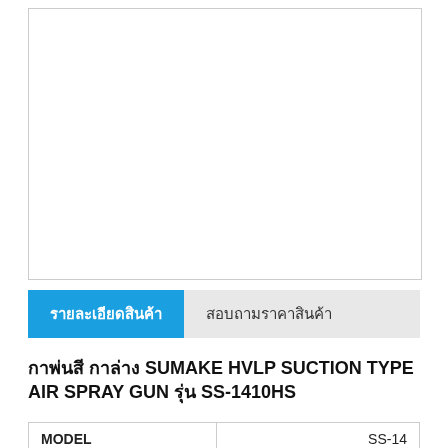[Figure (photo): Product image area (white/blank image box for spray gun photo)]
รายละเอียดสินค้า	สอบถามราคาสินค้า
กาพ่นสี กาล่าง SUMAKE HVLP SUCTION TYPE AIR SPRAY GUN รุ่น SS-1410HS
| MODEL |  |
| --- | --- |
| MODEL | SS-14... |